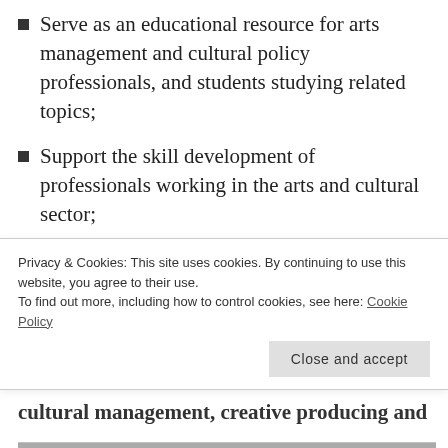Serve as an educational resource for arts management and cultural policy professionals, and students studying related topics;
Support the skill development of professionals working in the arts and cultural sector;
Encourage debate on topical issues related to arts and cultural management/policy;
Support and grow a vibrant Irish research community, allowing for the exchange of ideas and promoting research collaborations between individuals and organisations.
Privacy & Cookies: This site uses cookies. By continuing to use this website, you agree to their use.
To find out more, including how to control cookies, see here: Cookie Policy
cultural management, creative producing and